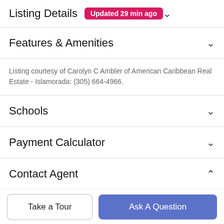Listing Details Updated 29 min ago
Features & Amenities
Listing courtesy of Carolyn C Ambler of American Caribbean Real Estate - Islamorada: (305) 664-4966.
Schools
Payment Calculator
Contact Agent
[Figure (photo): Agent profile photo, circular crop, shown partially at bottom of Contact Agent section]
Take a Tour
Ask A Question